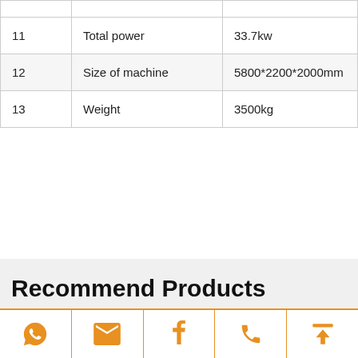| # | Parameter | Value |
| --- | --- | --- |
| 11 | Total power | 33.7kw |
| 12 | Size of machine | 5800*2200*2000mm |
| 13 | Weight | 3500kg |
Recommend Products
[Figure (other): Footer navigation bar with icons: WhatsApp, email, Facebook, phone, scroll-to-top]